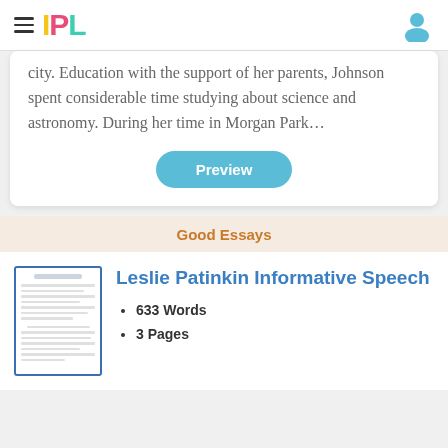IPL
city. Education with the support of her parents, Johnson spent considerable time studying about science and astronomy. During her time in Morgan Park…
Preview
Good Essays
[Figure (illustration): Thumbnail image of a document page with lines of text]
Leslie Patinkin Informative Speech
633 Words
3 Pages